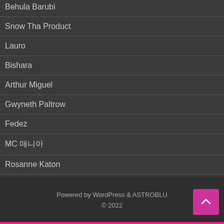Behula Barubi
Snow Tha Product
Lauro
Bishara
Arthur Miguel
Gwyneth Paltrow
Fedez
MC 매니아
Rosanne Katon
Nass
Major SPZ
Kimora Lee Simmons
Powered by WordPress & ASTROBLU © 2022